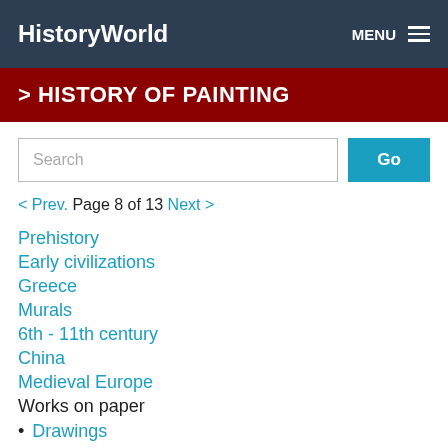HistoryWorld   MENU
> HISTORY OF PAINTING
Search   Go
< Prev.  Page 8 of 13  Next >
Prehistory
Early civilizations
Greece
Murals
6th - 11th century
China
Medieval Europe
Works on paper
Drawings